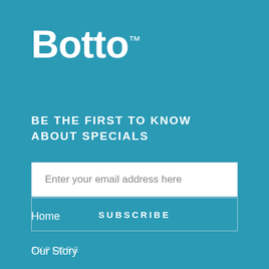Botto™
BE THE FIRST TO KNOW ABOUT SPECIALS
Enter your email address here
SUBSCRIBE
EXPLORE
Home
Our Story